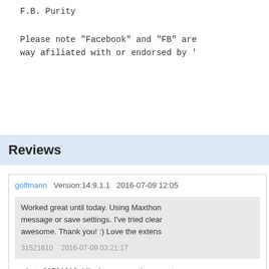F.B. Purity
Please note "Facebook" and "FB" are... way afiliated with or endorsed by ".
Reviews
golfmann  Version:14.9.1.1  2016-07-09 12:05
Worked great until today. Using Maxthon... message or save settings. I've tried clear... awesome. Thank you! :) Love the extens...
31521610  2016-07-09 03:21:17
reply to 31521610: Mine's gone south on me to...
31521610  Version:14.9.1.1  2016-07-09 03:2...
Worked great until today. Using Maxthon 4.9.3... save settings. I've tried clearing my cache and... you! :) Love the extension otherwise!